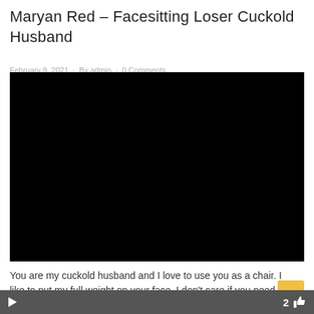Maryan Red – Facesitting Loser Cuckold Husband
February 9, 2021 · By admin · 0 Comments
[Figure (screenshot): Black video player embed area]
You are my cuckold husband and I love to use you as a chair. I like to put my full weight on your face. I don't care if you need to take a
2